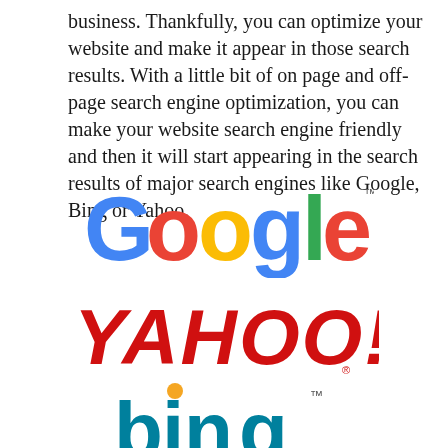business. Thankfully, you can optimize your website and make it appear in those search results. With a little bit of on page and off-page search engine optimization, you can make your website search engine friendly and then it will start appearing in the search results of major search engines like Google, Bing or Yahoo.
[Figure (logo): Google logo in multicolor (blue, red, yellow, green), followed by Yahoo! logo in red bold serif, followed by Bing logo in blue with orange dot]